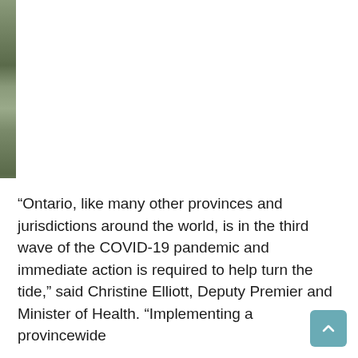[Figure (photo): Partial view of a building or outdoor scene along the left edge of the page, visible as a narrow vertical strip]
“Ontario, like many other provinces and jurisdictions around the world, is in the third wave of the COVID-19 pandemic and immediate action is required to help turn the tide,” said Christine Elliott, Deputy Premier and Minister of Health. “Implementing a provincewide